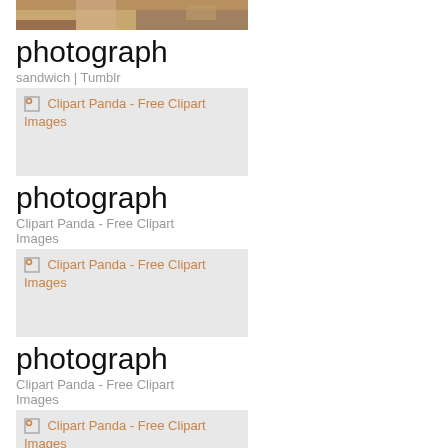[Figure (photo): Partial top of a sandwich photograph, cropped]
photograph
sandwich | Tumblr
[Figure (photo): Broken image placeholder: Clipart Panda - Free Clipart Images]
photograph
Clipart Panda - Free Clipart Images
[Figure (photo): Broken image placeholder: Clipart Panda - Free Clipart Images]
photograph
Clipart Panda - Free Clipart Images
[Figure (photo): Broken image placeholder: Clipart Panda - Free Clipart Images]
photograph